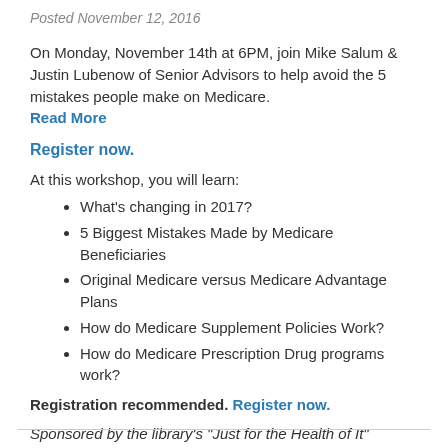Posted November 12, 2016
On Monday, November 14th at 6PM, join Mike Salum & Justin Lubenow of Senior Advisors to help avoid the 5 mistakes people make on Medicare.
Read More
Register now.
At this workshop, you will learn:
What's changing in 2017?
5 Biggest Mistakes Made by Medicare Beneficiaries
Original Medicare versus Medicare Advantage Plans
How do Medicare Supplement Policies Work?
How do Medicare Prescription Drug programs work?
Registration recommended. Register now.
Sponsored by the library's "Just for the Health of It" initiative to promote community health and wellness.